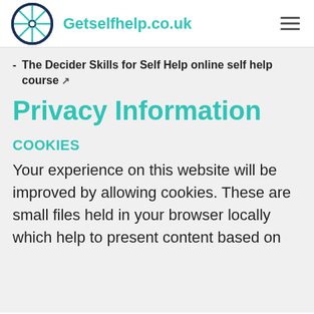Getselfhelp.co.uk
The Decider Skills for Self Help online self help course ↗
Privacy Information
COOKIES
Your experience on this website will be improved by allowing cookies. These are small files held in your browser locally which help to present content based on